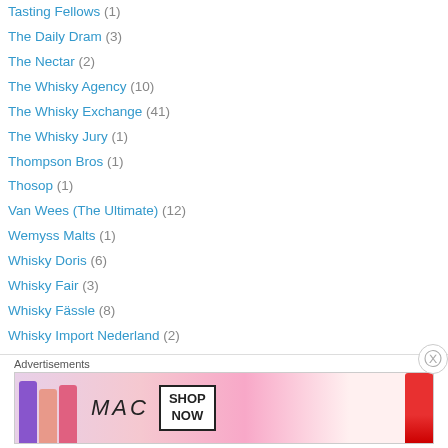Tasting Fellows (1)
The Daily Dram (3)
The Nectar (2)
The Whisky Agency (10)
The Whisky Exchange (41)
The Whisky Jury (1)
Thompson Bros (1)
Thosop (1)
Van Wees (The Ultimate) (12)
Wemyss Malts (1)
Whisky Doris (6)
Whisky Fair (3)
Whisky Fässle (8)
Whisky Import Nederland (2)
Whiskybroker (6)
WhiskySponge (3)
Wilson & Morgan (10)
[Figure (screenshot): Advertisement banner showing MAC cosmetics lipsticks with 'SHOP NOW' button]